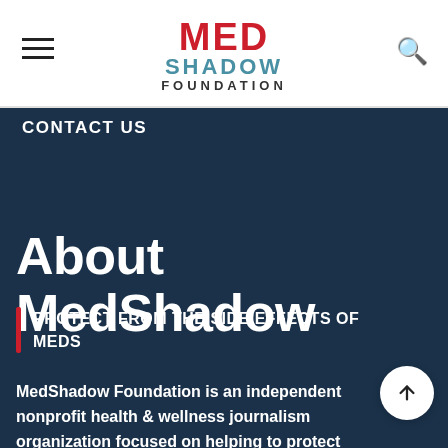[Figure (logo): MedShadow Foundation logo: MED in red, SHADOW in blue, FOUNDATION in dark gray]
CONTACT US
About MedShadow
PROTECT FROM THE SIDE EFFECTS OF MEDS
MedShadow Foundation is an independent nonprofit health & wellness journalism organization focused on helping to protect lives from the side effects of medication and lower risk